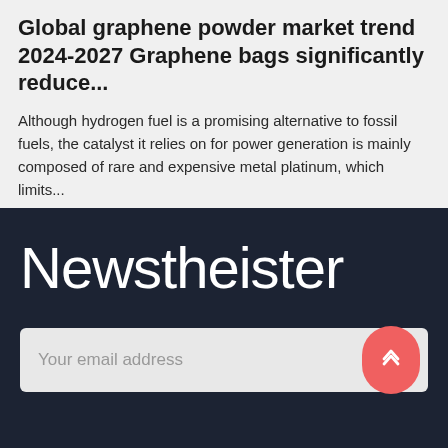Global graphene powder market trend 2024-2027 Graphene bags significantly reduce...
Although hydrogen fuel is a promising alternative to fossil fuels, the catalyst it relies on for power generation is mainly composed of rare and expensive metal platinum, which limits...
Newstheister
Your email address